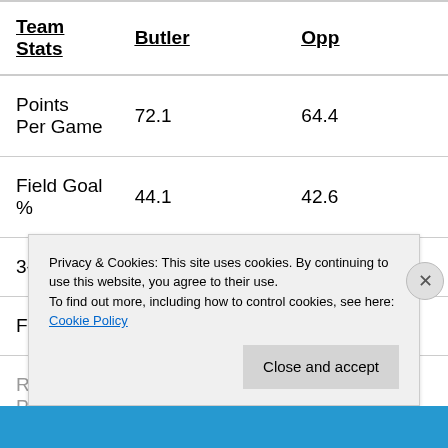| Team Stats | Butler | Opp |
| --- | --- | --- |
| Points Per Game | 72.1 | 64.4 |
| Field Goal % | 44.1 | 42.6 |
| 3-point % | 35.5 | 32.8 |
| FT % | 72.9 | 66.8 |
Privacy & Cookies: This site uses cookies. By continuing to use this website, you agree to their use.
To find out more, including how to control cookies, see here: Cookie Policy
Close and accept